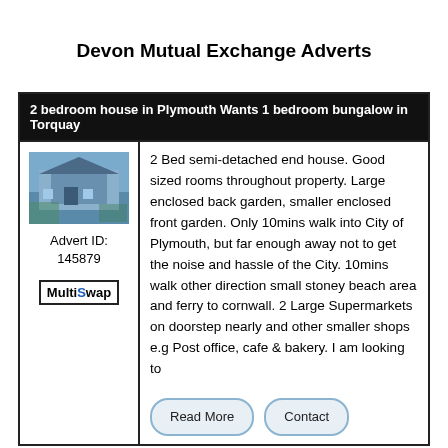Devon Mutual Exchange Adverts
2 bedroom house in Plymouth Wants 1 bedroom bungalow in Torquay
[Figure (photo): Photo of a semi-detached house exterior]
Advert ID: 145879
[Figure (logo): MultiSwap logo]
2 Bed semi-detached end house. Good sized rooms throughout property. Large enclosed back garden, smaller enclosed front garden. Only 10mins walk into City of Plymouth, but far enough away not to get the noise and hassle of the City. 10mins walk other direction small stoney beach area and ferry to cornwall. 2 Large Supermarkets on doorstep nearly and other smaller shops e.g Post office, cafe & bakery. I am looking to
Read More | Contact